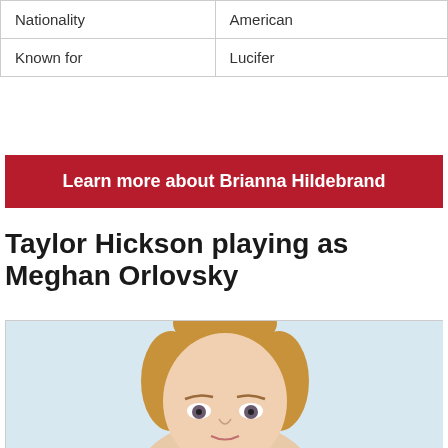| Nationality | American |
| Known for | Lucifer |
Learn more about Brianna Hildebrand
Taylor Hickson playing as Meghan Orlovsky
[Figure (photo): Photo of Taylor Hickson with hair in a bun, light blue background, partial crop showing face and hair]